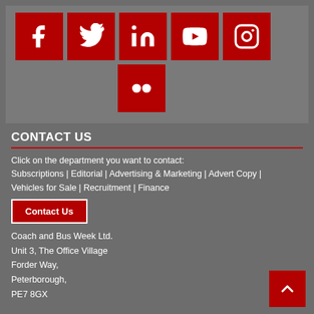[Figure (infographic): Social media icons grid: Facebook, Twitter, LinkedIn, YouTube, Instagram on top row; Flickr on second row. All icons are white on red square backgrounds, displayed on a grey panel.]
CONTACT US
Click on the department you want to contact:
Subscriptions | Editorial | Advertising & Marketing | Advert Copy | Vehicles for Sale | Recruitment | Finance
Contact Us
Coach and Bus Week Ltd.
Unit 3, The Office Village
Forder Way,
Peterborough,
PE7 8GX